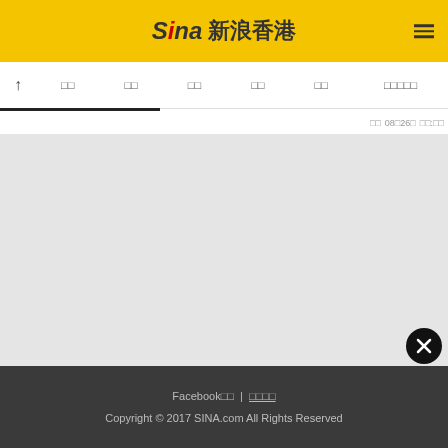SINA 新浪香港
↑ □□ □□ □□ □□ □□ □□□□□
□ 08□26□ □□:□□
[Figure (screenshot): Gray empty content area]
Facebook□□ | □□□□
Copyright © 2017 SINA.com All Rights Reserved